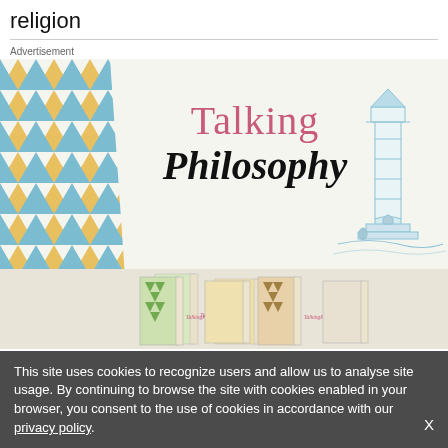religion
Advertisement
[Figure (illustration): Advertisement banner for 'Talking Philosophy' publication. Features a geometric triangle pattern in gold and blue on the left side, large text reading 'Talking Philosophy' in the center, a blue lighthouse sketch on the right, and a row of book covers at the bottom.]
This site uses cookies to recognize users and allow us to analyse site usage. By continuing to browse the site with cookies enabled in your browser, you consent to the use of cookies in accordance with our privacy policy.